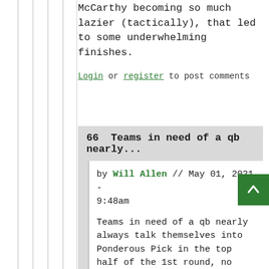McCarthy becoming so much lazier (tactically), that led to some underwhelming finishes.
Login or register to post comments
66  Teams in need of a qb nearly...
by Will Allen // May 01, 2021 - 9:48am
Teams in need of a qb nearly always talk themselves into Ponderous Pick in the top half of the 1st round, no matter what. Yes, Thompson deserves credit for seeing value, despite still